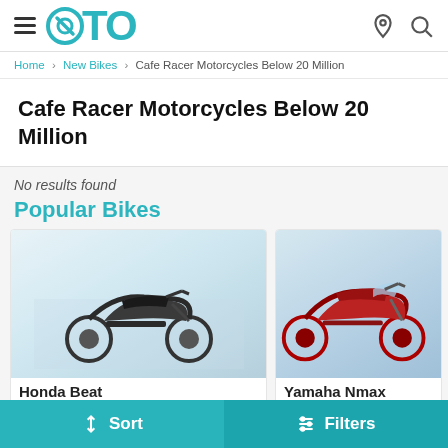OTO navigation header with hamburger menu and OTO logo, location and search icons
Home › New Bikes › Cafe Racer Motorcycles Below 20 Million
Cafe Racer Motorcycles Below 20 Million
No results found
Popular Bikes
[Figure (photo): Honda Beat motorcycle photo on light blue cityscape background]
Honda Beat
[Figure (photo): Yamaha Nmax motorcycle photo on blue background, partially visible]
Yamaha Nmax
Sort   Filters